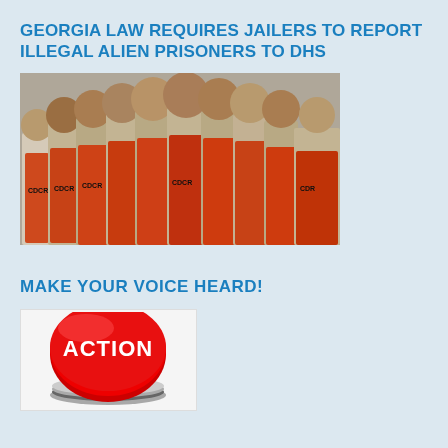GEORGIA LAW REQUIRES JAILERS TO REPORT ILLEGAL ALIEN PRISONERS TO DHS
[Figure (photo): Group of shirtless prisoners wearing orange CDCR shorts standing together in a facility]
MAKE YOUR VOICE HEARD!
[Figure (illustration): Red round 3D action button with white text reading ACTION on a grey metallic base]